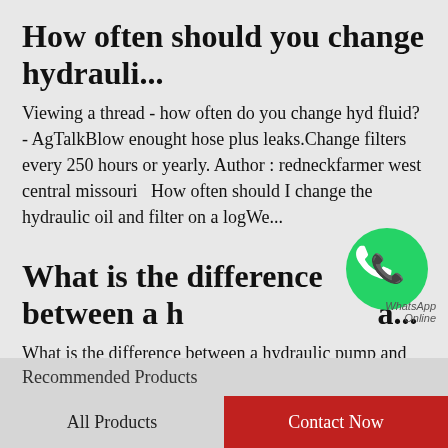How often should you change hydrauli...
Viewing a thread - how often do you change hyd fluid? - AgTalkBlow enought hose plus leaks.Change filters every 250 hours or yearly. Author : redneckfarmer west central missouri  How often should I change the hydraulic oil and filter on a logWe...
What is the difference between a h...a...
[Figure (logo): WhatsApp green circle icon with phone handset, with 'WhatsApp Online' text below]
What is the difference between a hydraulic pump and motor1. From the definition of two kinds of hydraulic components, they are different. Hydraulic pumps are components that absorb mechanical kinetic energy to produce  12 Difference Between...
Recommended Products
All Products
Contact Now